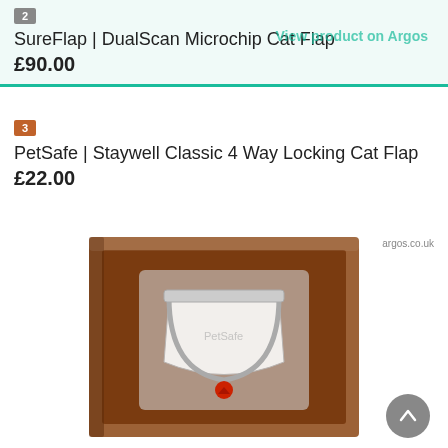Colour(s)
White
2
SureFlap | DualScan Microchip Cat Flap
£90.00
3
PetSafe | Staywell Classic 4 Way Locking Cat Flap
£22.00
[Figure (photo): Brown PetSafe Staywell Classic cat flap with clear plastic flap and red locking dial]
argos.co.uk